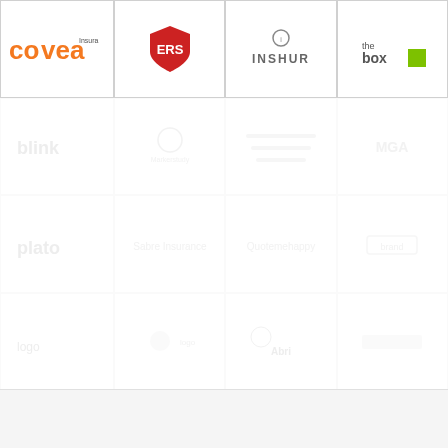[Figure (logo): Covea Insurance logo - orange text reading 'co vea Insurance']
[Figure (logo): ERS logo - red shield with ERS text]
[Figure (logo): INSHUR logo - grey text INSHUR with small icon above]
[Figure (logo): The Box logo - 'the box' text with green square]
[Figure (logo): Faded/greyed out logo placeholder row 2 col 1]
[Figure (logo): Faded/greyed out logo placeholder row 2 col 2]
[Figure (logo): Faded/greyed out logo placeholder row 2 col 3]
[Figure (logo): Faded/greyed out logo placeholder row 2 col 4]
[Figure (logo): Faded/greyed out logo placeholder row 3 col 1]
[Figure (logo): Faded/greyed out logo placeholder row 3 col 2]
[Figure (logo): Faded/greyed out logo placeholder row 3 col 3]
[Figure (logo): Faded/greyed out logo placeholder row 3 col 4]
[Figure (logo): Faded/greyed out logo placeholder row 4 col 1]
[Figure (logo): Faded/greyed out logo placeholder row 4 col 2]
[Figure (logo): Faded/greyed out logo placeholder row 4 col 3 - Abri logo faded]
[Figure (logo): Faded/greyed out logo placeholder row 4 col 4]